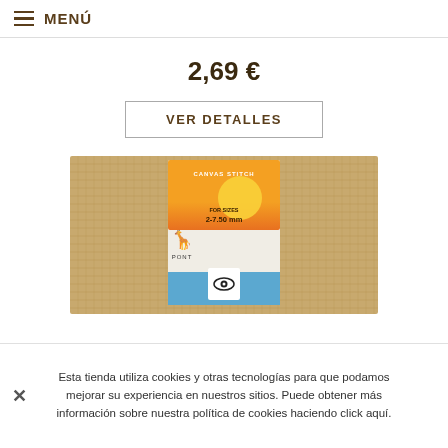≡ MENÚ
2,69 €
VER DETALLES
[Figure (photo): Product photo: a burlap/jute canvas fabric with a Prym/Pony brand needle packaging card showing 'FOR SIZES 2-7.50 mm' and an eye needle icon, placed on top of the textured fabric.]
Esta tienda utiliza cookies y otras tecnologías para que podamos mejorar su experiencia en nuestros sitios. Puede obtener más información sobre nuestra política de cookies haciendo click aquí.